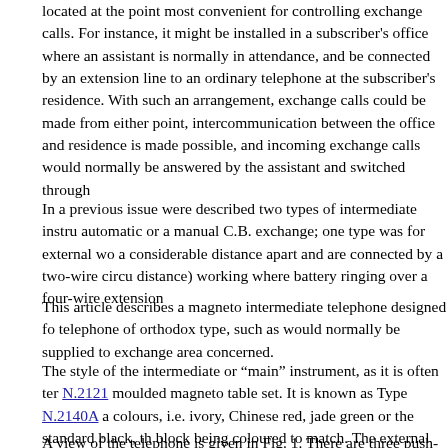located at the point most convenient for controlling exchange calls. For instance, it might be installed in a subscriber's office where an assistant is normally in attendance, and be connected by an extension line to an ordinary telephone at the subscriber's residence. With such an arrangement, exchange calls could be made from either point, intercommunication between the office and residence is made possible, and incoming exchange calls would normally be answered by the assistant and switched through
In a previous issue were described two types of intermediate instru automatic or a manual C.B. exchange; one type was for external wo a considerable distance apart and are connected by a two-wire circu distance) working where battery ringing over a four-wire extension
This article describes a magneto intermediate telephone designed fo telephone of orthodox type, such as would normally be supplied to exchange area concerned.
The style of the intermediate or "main" instrument, as it is often ter N.2121 moulded magneto table set. It is known as Type N.2140A a colours, i.e. ivory, Chinese red, jade green or the standard black, th block being coloured to match. The external fittings are chromium
A view of the telephone is given in Fig. 1. There are three push-bu